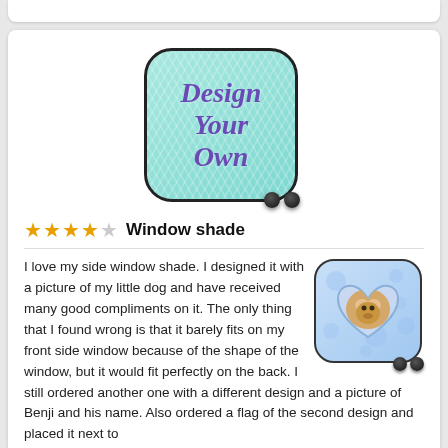[Figure (photo): Product image of a custom car window shade with 'Design Your Own' text on a teal chevron background, with suction cups at bottom.]
★★★★☆ Window shade
I love my side window shade. I designed it with a picture of my little dog and have received many good compliments on it. The only thing that I found wrong is that it barely fits on my front side window because of the shape of the window, but it would fit perfectly on the back. I still ordered another one with a different design and a picture of Benji and his name. Also ordered a flag of the second design and placed it next to
[Figure (photo): Product photo of a custom window shade featuring a dog photo in a heart-shaped frame on a blue bubble background, with suction cups.]